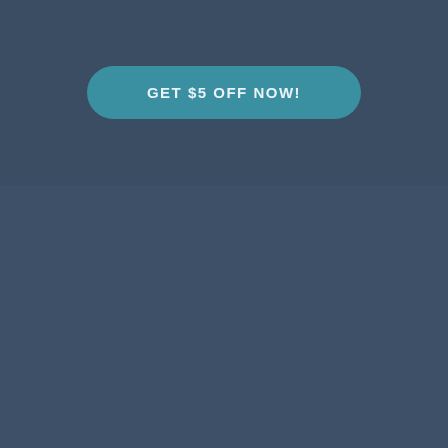GET $5 OFF NOW!
UPCOMING EVENTS
2022 OKLAHOMA SOONERS FOOTBALL SEASON TICKETS (INCLUDES TICKETS TO ALL REGULAR SEASON HOME GAMES) ›  02/09/2022